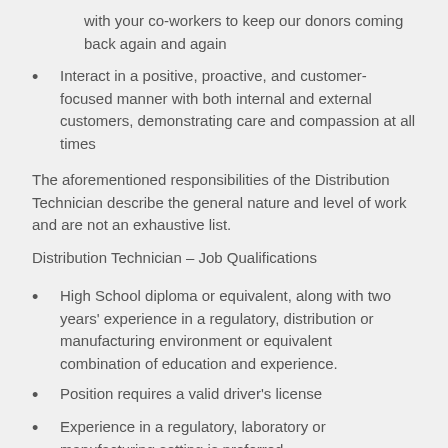with your co-workers to keep our donors coming back again and again
Interact in a positive, proactive, and customer-focused manner with both internal and external customers, demonstrating care and compassion at all times
The aforementioned responsibilities of the Distribution Technician describe the general nature and level of work and are not an exhaustive list.
Distribution Technician – Job Qualifications
High School diploma or equivalent, along with two years' experience in a regulatory, distribution or manufacturing environment or equivalent combination of education and experience.
Position requires a valid driver's license
Experience in a regulatory, laboratory or manufacturing setting is preferred